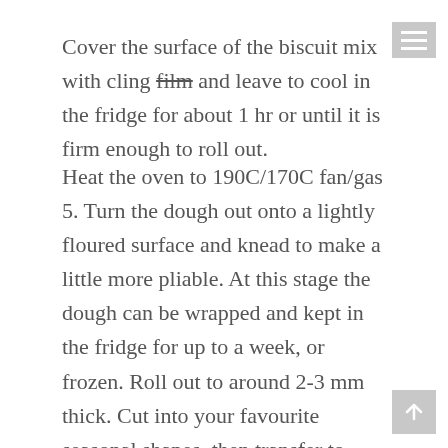Cover the surface of the biscuit mix with cling film and leave to cool in the fridge for about 1 hr or until it is firm enough to roll out.
Heat the oven to 190C/170C fan/gas 5. Turn the dough out onto a lightly floured surface and knead to make a little more pliable. At this stage the dough can be wrapped and kept in the fridge for up to a week, or frozen. Roll out to around 2-3 mm thick. Cut into your favourite seasonal shapes, then transfer to baking trays, leaving room for them to spread. If you plan to hang the biscuits up as decorations, make a small hole in the top of each one using a skewer. Repeat until all the dough is used, or freeze any leftovers for later, to keep the decs going all Christmas – they will get eaten after all!